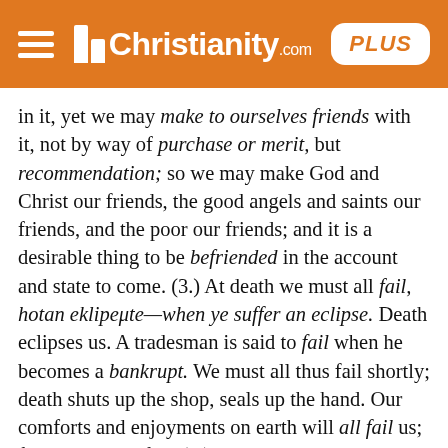Christianity.com PLUS
in it, yet we may make to ourselves friends with it, not by way of purchase or merit, but recommendation; so we may make God and Christ our friends, the good angels and saints our friends, and the poor our friends; and it is a desirable thing to be befriended in the account and state to come. (3.) At death we must all fail, hotan eklipeμte—when ye suffer an eclipse. Death eclipses us. A tradesman is said to fail when he becomes a bankrupt. We must all thus fail shortly; death shuts up the shop, seals up the hand. Our comforts and enjoyments on earth will all fail us; flesh and heart fail. (4.) It ought to be our great concern to make it sure to ourselves, that when we fail at death we may be received into everlasting habitations in heaven. The habitations in